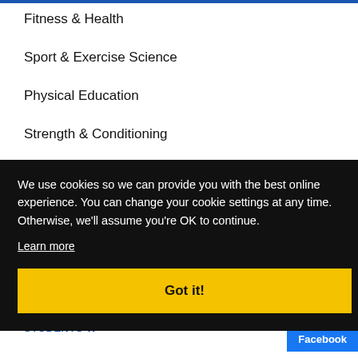Fitness & Health
Sport & Exercise Science
Physical Education
Strength & Conditioning
We use cookies so we can provide you with the best online experience. You can change your cookie settings at any time. Otherwise, we'll assume you're OK to continue.
Learn more
Got it!
MODIFIED J... FOR STUDENTS W...